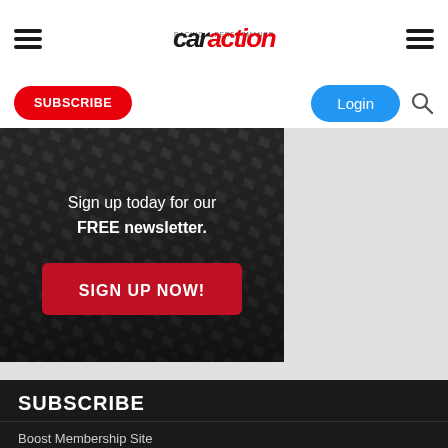[Figure (logo): Car Action magazine logo with hamburger menu icons on left and right]
[Figure (infographic): Subscribe and Login buttons with search icon]
[Figure (infographic): Diamond plate textured banner with text 'Sign up today for our FREE newsletter.' and a red SIGN UP NOW! button]
SUBSCRIBE
Boost Membership Site
Digital + Print Edition
Digital Edition
Gift Subscription